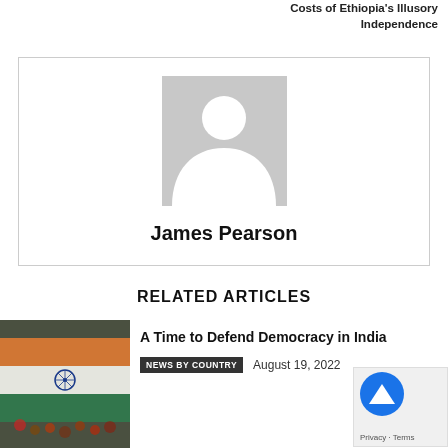Costs of Ethiopia's Illusory Independence
[Figure (illustration): Author profile placeholder: gray rectangle with a white silhouette person icon (head and shoulders), centered in an author card box]
James Pearson
RELATED ARTICLES
[Figure (photo): Photograph of people holding an Indian flag (tricolor: saffron, white, green) with the Ashoka Chakra visible]
A Time to Defend Democracy in India
NEWS BY COUNTRY   August 19, 2022